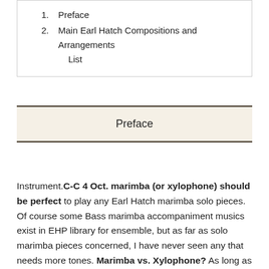1. Preface
2. Main Earl Hatch Compositions and Arrangements List
Preface
Instrument.C-C 4 Oct. marimba (or xylophone) should be perfect to play any Earl Hatch marimba solo pieces. Of course some Bass marimba accompaniment musics exist in EHP library for ensemble, but as far as solo marimba pieces concerned, I have never seen any that needs more tones. Marimba vs. Xylophone? As long as they were made for marimba, marimba is better, however, you can enjoy almost full Earl Hatch taste by